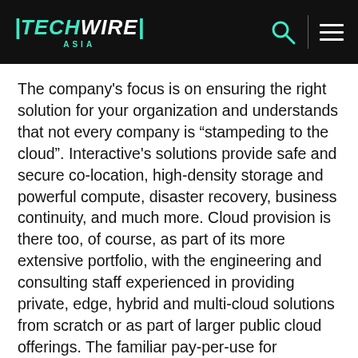TECHWIRE ASIA
The company’s focus is on ensuring the right solution for your organization and understands that not every company is “stampeding to the cloud”. Interactive’s solutions provide safe and secure co-location, high-density storage and powerful compute, disaster recovery, business continuity, and much more. Cloud provision is there too, of course, as part of its more extensive portfolio, with the engineering and consulting staff experienced in providing private, edge, hybrid and multi-cloud solutions from scratch or as part of larger public cloud offerings. The familiar pay-per-use for infrastructure covers hosting models of multi-tenant or dedicated, managed or unmanaged